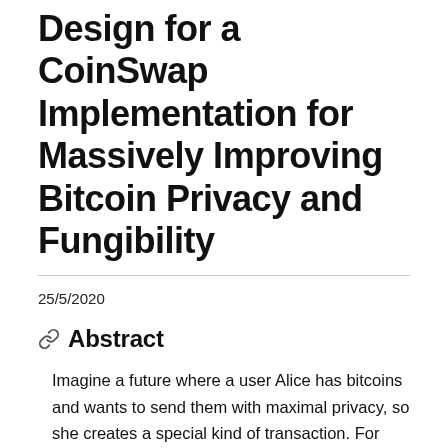Design for a CoinSwap Implementation for Massively Improving Bitcoin Privacy and Fungibility
25/5/2020
Abstract
Imagine a future where a user Alice has bitcoins and wants to send them with maximal privacy, so she creates a special kind of transaction. For anyone looking at the blockchain her transaction appears completely normal with her coins seemingly going from address A to address B. But in reality her coins end up in address Z which